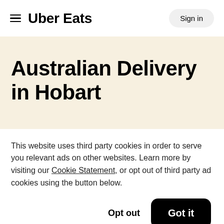≡  Uber Eats  Sign in
Australian Delivery in Hobart
This website uses third party cookies in order to serve you relevant ads on other websites. Learn more by visiting our Cookie Statement, or opt out of third party ad cookies using the button below.
Opt out  Got it